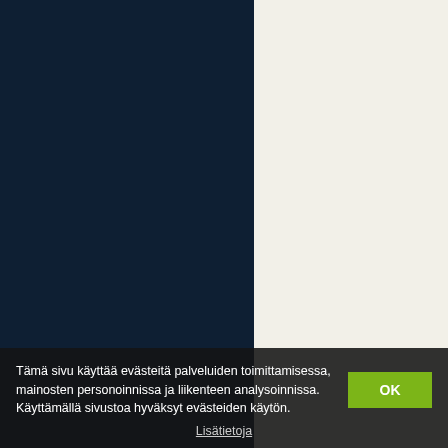[Figure (other): Two-panel background: left half is dark navy blue (#0e1f33), right half is off-white/cream (#f2f0e8)]
Tämä sivu käyttää evästeitä palveluiden toimittamisessa, mainosten personoinnissa ja liikenteen analysoinnissa. Käyttämällä sivustoa hyväksyt evästeiden käytön.
OK
Lisätietoja